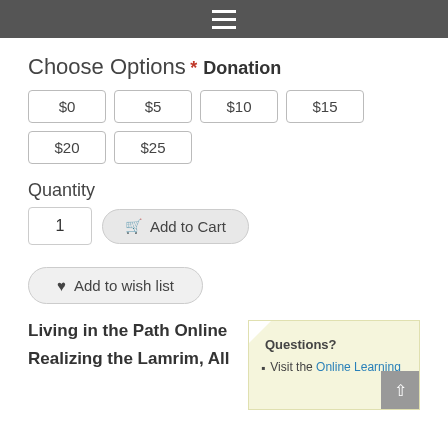≡
Choose Options
* Donation
$0 $5 $10 $15 $20 $25
Quantity
1   Add to Cart
Add to wish list
Living in the Path Online
Realizing the Lamrim, All
Questions?
Visit the Online Learning